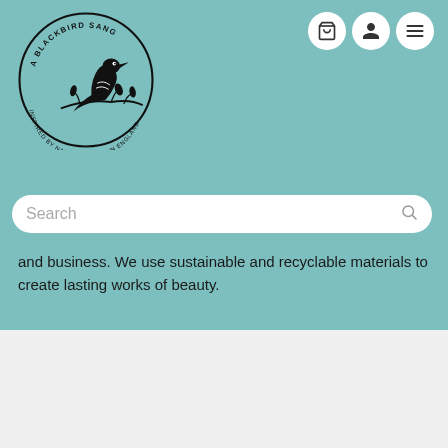[Figure (logo): A Blackbird Sang circular logo with black silhouette of a bird on branches, text reading 'A BLACKBIRD SANG' and 'INSPIRED BY NATURE - MADE IN ENGLAND']
[Figure (infographic): Three white circular icon buttons: shopping cart, user/person, and hamburger menu]
[Figure (other): Search bar with placeholder text 'Search' and magnifying glass icon]
and business. We use sustainable and recyclable materials to create lasting works of beauty.
© 2022 A Blackbird Sang | Shopify Theme by Mile High Themes | Powered by Shopify
[Figure (infographic): Payment method icons: American Express, Apple Pay, Diners Club, Discover, Google Pay, Maestro, Mastercard, PayPal]